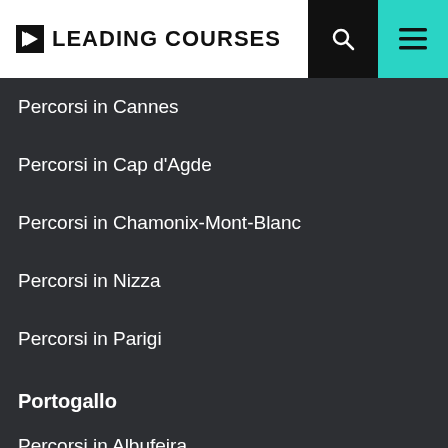LEADING COURSES
Percorsi in Cannes
Percorsi in Cap d'Agde
Percorsi in Chamonix-Mont-Blanc
Percorsi in Nizza
Percorsi in Parigi
Portogallo
Percorsi in Albufeira
Percorsi in Lagos